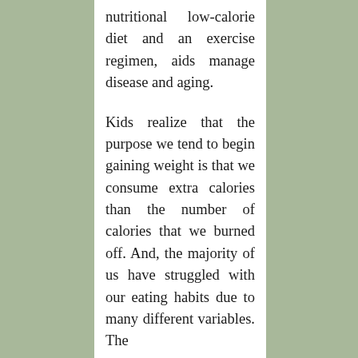nutritional low-calorie diet and an exercise regimen, aids manage disease and aging.
Kids realize that the purpose we tend to begin gaining weight is that we consume extra calories than the number of calories that we burned off. And, the majority of us have struggled with our eating habits due to many different variables. The